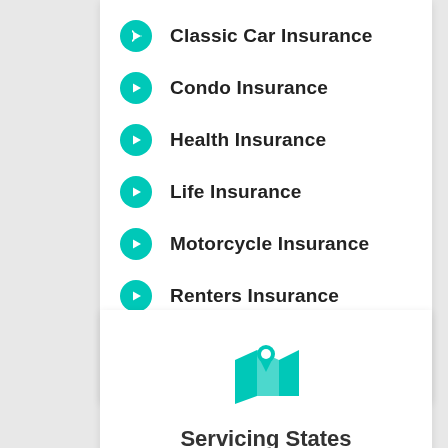Classic Car Insurance
Condo Insurance
Health Insurance
Life Insurance
Motorcycle Insurance
Renters Insurance
Umbrella Insurance
[Figure (illustration): Teal map/location pin icon representing Servicing States]
Servicing States